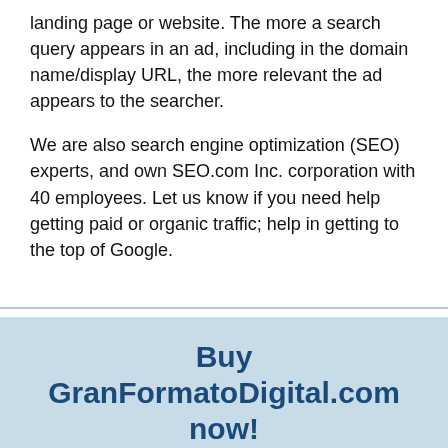landing page or website. The more a search query appears in an ad, including in the domain name/display URL, the more relevant the ad appears to the searcher.
We are also search engine optimization (SEO) experts, and own SEO.com Inc. corporation with 40 employees. Let us know if you need help getting paid or organic traffic; help in getting to the top of Google.
Buy GranFormatoDigital.com now!
[Figure (screenshot): Orange 'REQUEST PRICE' button, partially obscured by a white chat popup at bottom right showing 'Leave a message' text with a green speech bubble icon.]